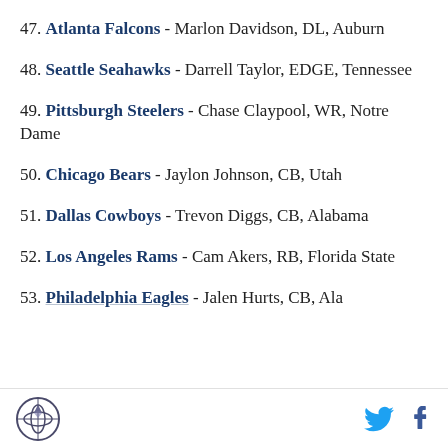47. Atlanta Falcons - Marlon Davidson, DL, Auburn
48. Seattle Seahawks - Darrell Taylor, EDGE, Tennessee
49. Pittsburgh Steelers - Chase Claypool, WR, Notre Dame
50. Chicago Bears - Jaylon Johnson, CB, Utah
51. Dallas Cowboys - Trevon Diggs, CB, Alabama
52. Los Angeles Rams - Cam Akers, RB, Florida State
53. Philadelphia Eagles - Jalen Hurts, CB, Ala...
SB Nation logo | Twitter | Facebook